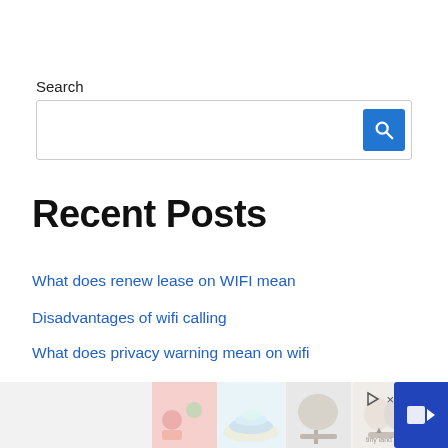Search
[Figure (screenshot): Search input box with blue search button containing a magnifying glass icon]
Recent Posts
What does renew lease on WIFI mean
Disadvantages of wifi calling
What does privacy warning mean on wifi
WIFI 5 vs WIFI 6
[Figure (photo): Advertisement banner with toy product images and Tiny Land branding]